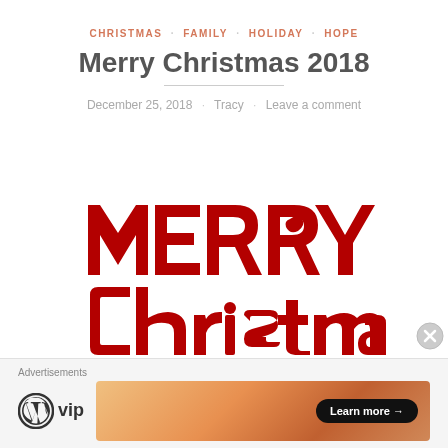CHRISTMAS · FAMILY · HOLIDAY · HOPE
Merry Christmas 2018
December 25, 2018 · Tracy · Leave a comment
[Figure (illustration): Decorative red 'Merry Christmas' lettering in bold stylized font with swirls and curls on white background]
Advertisements
[Figure (logo): WordPress VIP logo]
[Figure (infographic): Advertisement banner with orange gradient and 'Learn more →' button]